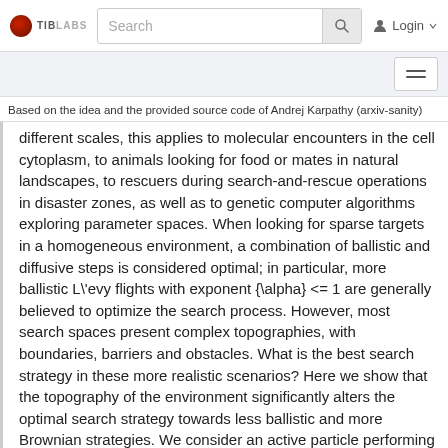TIB LABS  [Search]  Login
Based on the idea and the provided source code of Andrej Karpathy (arxiv-sanity)
different scales, this applies to molecular encounters in the cell cytoplasm, to animals looking for food or mates in natural landscapes, to rescuers during search-and-rescue operations in disaster zones, as well as to genetic computer algorithms exploring parameter spaces. When looking for sparse targets in a homogeneous environment, a combination of ballistic and diffusive steps is considered optimal; in particular, more ballistic L\'evy flights with exponent {\alpha} <= 1 are generally believed to optimize the search process. However, most search spaces present complex topographies, with boundaries, barriers and obstacles. What is the best search strategy in these more realistic scenarios? Here we show that the topography of the environment significantly alters the optimal search strategy towards less ballistic and more Brownian strategies. We consider an active particle performing a blind search in a